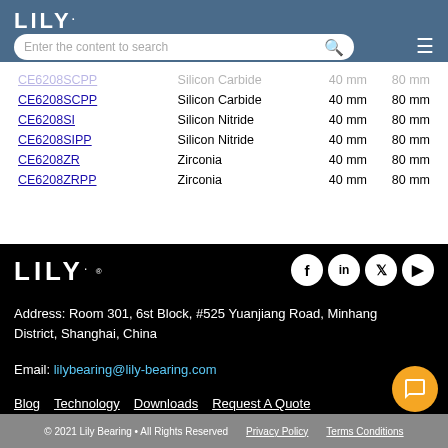LILY.
| Product | Material | Bore | OD |
| --- | --- | --- | --- |
| CE6208SCPP | Silicon Carbide | 40 mm | 80 mm |
| CE6208SI | Silicon Nitride | 40 mm | 80 mm |
| CE6208SIPP | Silicon Nitride | 40 mm | 80 mm |
| CE6208ZR | Zirconia | 40 mm | 80 mm |
| CE6208ZRPP | Zirconia | 40 mm | 80 mm |
[Figure (logo): LILY. logo in white on black background]
Address: Room 301, 6st Block, #525 Yuanjiang Road, Minhang District, Shanghai, China
Email: lilybearing@lily-bearing.com
Blog   Technology   Downloads   Request A Quote
RoHS & REACH Compliance
© 2021 Lily Bearing • All Rights Reserved   Privacy Policy   Terms Conditions